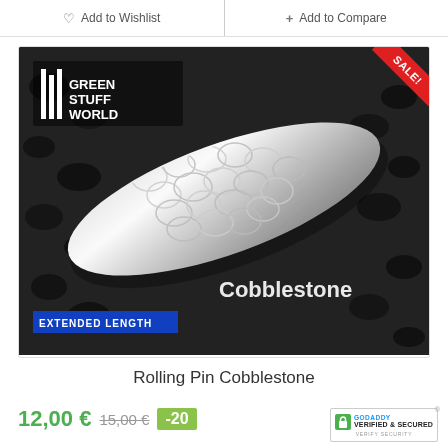Add to Wishlist
+ Add to Compare
[Figure (photo): Green Stuff World Rolling Pin Cobblestone product photo with SALE! banner in top-right corner. The image shows a textured transparent acrylic rolling pin with cobblestone pattern on a dark background. Text overlays: Green Stuff World logo, Cobblestone, EXTENDED LENGTH.]
Rolling Pin Cobblestone
12,00 € 15,00 € -20%